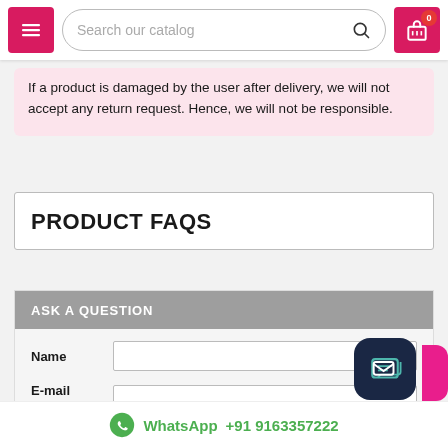Search our catalog
If a product is damaged by the user after delivery, we will not accept any return request. Hence, we will not be responsible.
PRODUCT FAQS
ASK A QUESTION
Name
E-mail address
Select Topic
WhatsApp +91 9163357222